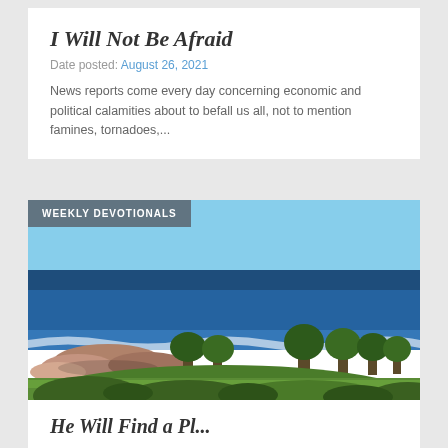I Will Not Be Afraid
Date posted: August 26, 2021
News reports come every day concerning economic and political calamities about to befall us all, not to mention famines, tornadoes,...
WEEKLY DEVOTIONALS
[Figure (photo): Coastal landscape photograph showing blue ocean water, rocky shoreline with pink/brown rocks, waves breaking on the shore, and green trees and grass in the foreground under a clear blue sky.]
He Will Find a Pl...